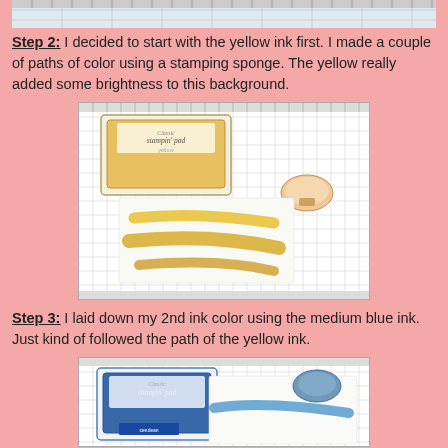[Figure (photo): Top partial photo showing a ruler and crafting materials on a grid surface]
Step 2: I decided to start with the yellow ink first. I made a couple of paths of color using a stamping sponge. The yellow really added some brightness to this background.
[Figure (photo): Photo showing a yellow Classic Stampin' Pad ink pad and a stamping sponge with two diagonal yellow ink strokes on white paper, placed on a grid cutting mat]
Step 3: I laid down my 2nd ink color using the medium blue ink. Just kind of followed the path of the yellow ink.
[Figure (photo): Partial photo showing a blue Classic Stampin' Pad ink pad, a stamping sponge with blue ink, and blue ink strokes beginning on white paper on a grid surface]